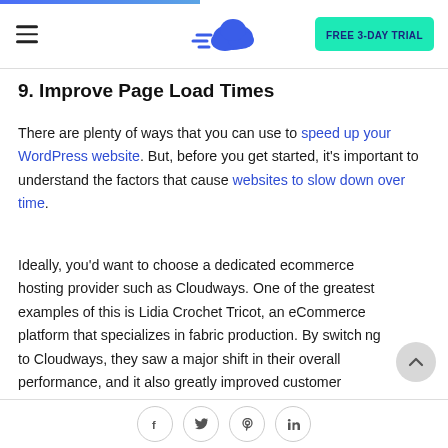FREE 3-DAY TRIAL
9. Improve Page Load Times
There are plenty of ways that you can use to speed up your WordPress website. But, before you get started, it's important to understand the factors that cause websites to slow down over time.
Ideally, you'd want to choose a dedicated ecommerce hosting provider such as Cloudways. One of the greatest examples of this is Lidia Crochet Tricot, an eCommerce platform that specializes in fabric production. By switching to Cloudways, they saw a major shift in their overall performance, and it also greatly improved customer
Social share icons: Facebook, Twitter, Pinterest, LinkedIn